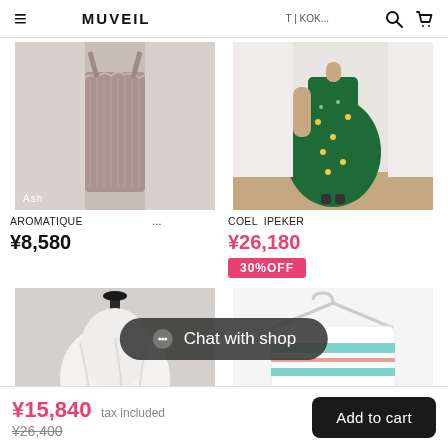≡  MUVEIL  　　　　　　　　T | KOK...  🔍  🛒
[Figure (photo): Ribbed cami top on mannequin with lace trim, ash/mauve color, label 'Ash' in bottom left]
AROMATIQUE　　　　　　　...
¥8,580
[Figure (photo): Woman wearing green floral maxi dress, standing with one hand on hip]
COEL　IPEKER
¥26,180
30%OFF
[Figure (photo): White draped garment on mannequin, light gray background]
[Figure (photo): White and teal striped top on hanger, white background]
Chat with shop
¥15,840 tax included
¥26,400
Add to cart